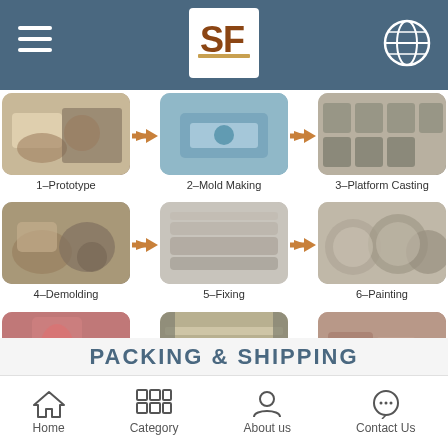SF logo header with hamburger menu and globe icon
[Figure (photo): Manufacturing process step 1 – Prototype: worker shaping ceramic by hand]
1–Prototype
[Figure (photo): Manufacturing process step 2 – Mold Making: worker using mold-making equipment]
2–Mold Making
[Figure (photo): Manufacturing process step 3 – Platform Casting: rows of ceramic molds in factory]
3–Platform Casting
[Figure (photo): Manufacturing process step 4 – Demolding: worker removing ceramics from molds]
4–Demolding
[Figure (photo): Manufacturing process step 5 – Fixing: stacked flat ceramic pieces being smoothed]
5–Fixing
[Figure (photo): Manufacturing process step 6 – Painting: worker applying paint to ceramic plates]
6–Painting
[Figure (photo): Manufacturing process step 7 – Glazing: worker in red applying glaze to ceramics]
7–Glazing
[Figure (photo): Manufacturing process step 8 – Glazed Firing: ceramics on shelves in large kiln]
8–Glazed Firing
[Figure (photo): Manufacturing process step 20 – Packaging: workers packaging ceramic products in boxes]
20–Packaging
PACKING & SHIPPING
Home  Category  About us  Contact Us